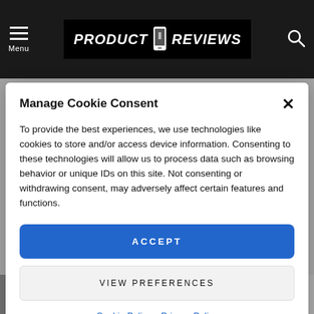PRODUCT REVIEWS — site header with menu, logo, and search icon
Manage Cookie Consent
To provide the best experiences, we use technologies like cookies to store and/or access device information. Consenting to these technologies will allow us to process data such as browsing behavior or unique IDs on this site. Not consenting or withdrawing consent, may adversely affect certain features and functions.
ACCEPT
VIEW PREFERENCES
Cookie Policy  Privacy Policy
1  VIEWS